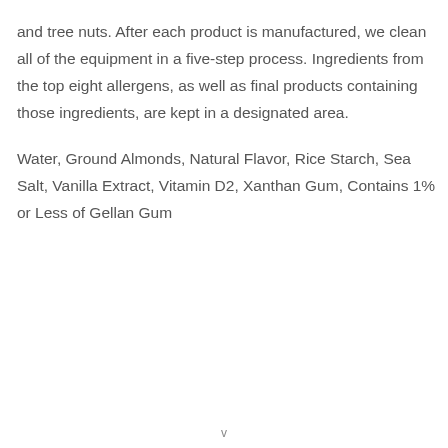and tree nuts. After each product is manufactured, we clean all of the equipment in a five-step process. Ingredients from the top eight allergens, as well as final products containing those ingredients, are kept in a designated area.
Water, Ground Almonds, Natural Flavor, Rice Starch, Sea Salt, Vanilla Extract, Vitamin D2, Xanthan Gum, Contains 1% or Less of Gellan Gum
v